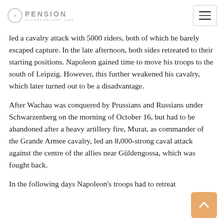PENSION VOLKSKUNDAMT 1905
led a cavalry attack with 5000 riders, both of which he barely escaped capture. In the late afternoon, both sides retreated to their starting positions. Napoleon gained time to move his troops to the south of Leipzig. However, this further weakened his cavalry, which later turned out to be a disadvantage.
After Wachau was conquered by Prussians and Russians under Schwarzenberg on the morning of October 16, but had to be abandoned after a heavy artillery fire, Murat, as commander of the Grande Armee cavalry, led an 8,000-strong caval attack against the centre of the allies near Güldengossa, which was fought back.
In the following days Napoleon's troops had to retreat